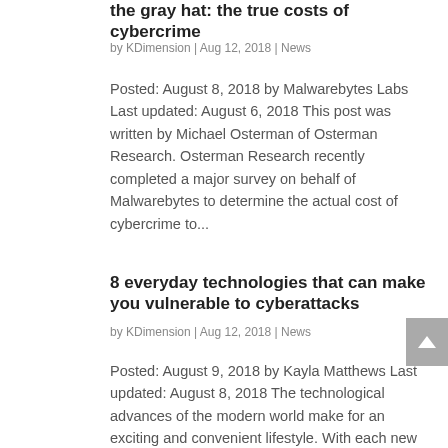the gray hat: the true costs of cybercrime
by KDimension | Aug 12, 2018 | News
Posted: August 8, 2018 by Malwarebytes Labs Last updated: August 6, 2018 This post was written by Michael Osterman of Osterman Research. Osterman Research recently completed a major survey on behalf of Malwarebytes to determine the actual cost of cybercrime to...
8 everyday technologies that can make you vulnerable to cyberattacks
by KDimension | Aug 12, 2018 | News
Posted: August 9, 2018 by Kayla Matthews Last updated: August 8, 2018 The technological advances of the modern world make for an exciting and convenient lifestyle. With each new development, from artificial intelligence to the Internet of Things, we make the mundane...